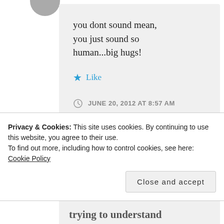[Figure (photo): Circular avatar/profile photo, partially visible at top, gray color]
you dont sound mean, you just sound so human...big hugs!
Like
JUNE 20, 2012 AT 8:57 AM
Privacy & Cookies: This site uses cookies. By continuing to use this website, you agree to their use.
To find out more, including how to control cookies, see here: Cookie Policy
Close and accept
trying to understand